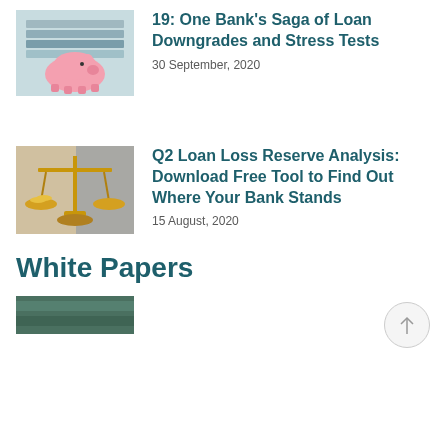[Figure (photo): Pink piggy bank on a surface, top portion visible]
19: One Bank's Saga of Loan Downgrades and Stress Tests
30 September, 2020
[Figure (photo): Gold balance scales of justice on a surface]
Q2 Loan Loss Reserve Analysis: Download Free Tool to Find Out Where Your Bank Stands
15 August, 2020
White Papers
[Figure (photo): Partial thumbnail image at bottom of page]